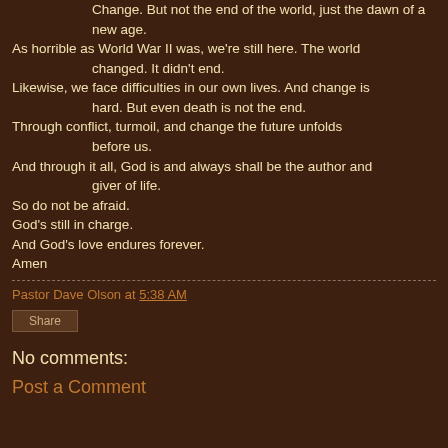Change. But not the end of the world, just the dawn of a new age.
As horrible as World War II was, we're still here. The world changed. It didn't end.
Likewise, we face difficulties in our own lives. And change is hard. But even death is not the end.
Through conflict, turmoil, and change the future unfolds before us.
And through it all, God is and always shall be the author and giver of life.
So do not be afraid.
God's still in charge.
And God's love endures forever.
Amen
Pastor Dave Olson at 5:38 AM
Share
No comments:
Post a Comment